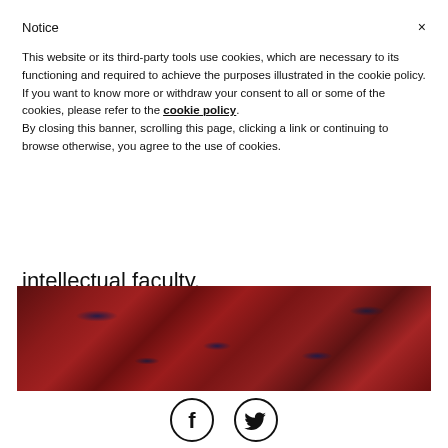Notice
This website or its third-party tools use cookies, which are necessary to its functioning and required to achieve the purposes illustrated in the cookie policy. If you want to know more or withdraw your consent to all or some of the cookies, please refer to the cookie policy.
By closing this banner, scrolling this page, clicking a link or continuing to browse otherwise, you agree to the use of cookies.
intellectual faculty.
[Figure (photo): Close-up photograph of reddish-brown textured biological tissue with dark streaks, likely intestinal or brain tissue.]
[Figure (other): Facebook and Twitter social media icon circles at the bottom of the page.]